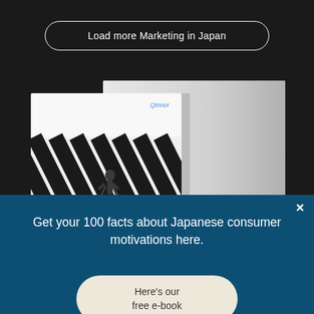Load more Marketing in Japan
[Figure (photo): Two books or reports stacked/overlapping — front book has a cover with bold black-and-white diagonal stripes and a small figure of a person walking, back book is white/grey, on a dark background]
×
Get your 100 facts about Japanese consumer motivations here.
Here's our free e-book